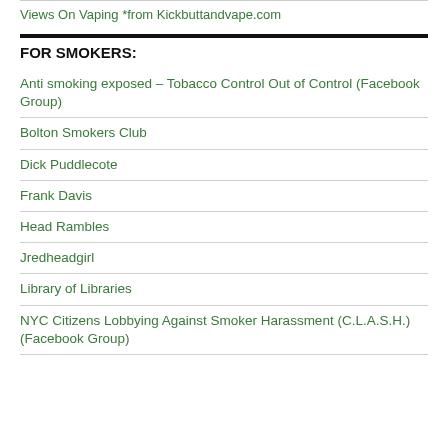Views On Vaping *from Kickbuttandvape.com
FOR SMOKERS:
Anti smoking exposed – Tobacco Control Out of Control (Facebook Group)
Bolton Smokers Club
Dick Puddlecote
Frank Davis
Head Rambles
Jredheadgirl
Library of Libraries
NYC Citizens Lobbying Against Smoker Harassment (C.L.A.S.H.) (Facebook Group)